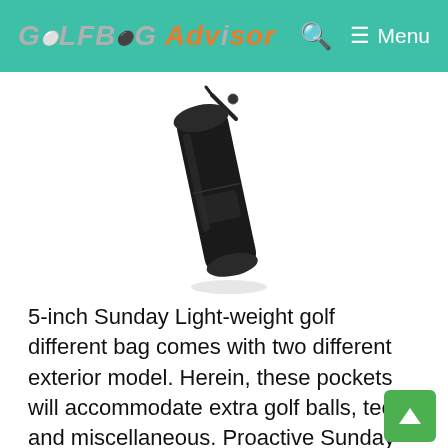GolfBag Advisor — Search — Menu
[Figure (photo): A black Sunday golf carry bag standing upright at an angle, with a shoulder strap, against a white background.]
5-inch Sunday Light-weight golf different bag comes with two different exterior model. Herein, these pockets will accommodate extra golf balls, tees and miscellaneous. Proactive Sunday carry bags can prove great for those 9-hole courses, as you can take couple of clubs to the driving range. So, you can throw in a few clubs, a couple of balls